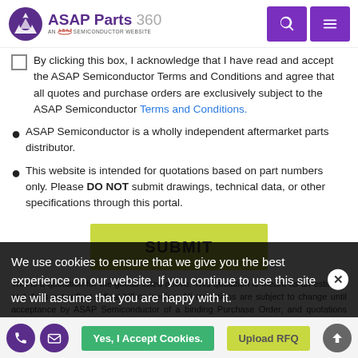ASAP Parts 360 — AN A.S.A.P SEMICONDUCTOR WEBSITE
By clicking this box, I acknowledge that I have read and accept the ASAP Semiconductor Terms and Conditions and agree that all quotes and purchase orders are exclusively subject to the ASAP Semiconductor Terms and Conditions.
ASAP Semiconductor is a wholly independent aftermarket parts distributor.
This website is intended for quotations based on part numbers only. Please DO NOT submit drawings, technical data, or other specifications through this portal.
SUBMIT
This is a quotation for the goods listed above. This quotation is meant as an estimate and does not reflect a final bill or invoice. All quotations are subject to change until acceptance by ASAP Semiconductor of a binding Purchase Order, and quotations may be withdrawn or revised at the sole discretion of ASAP...
We use cookies to ensure that we give you the best experience on our website. If you continue to use this site we will assume that you are happy with it.